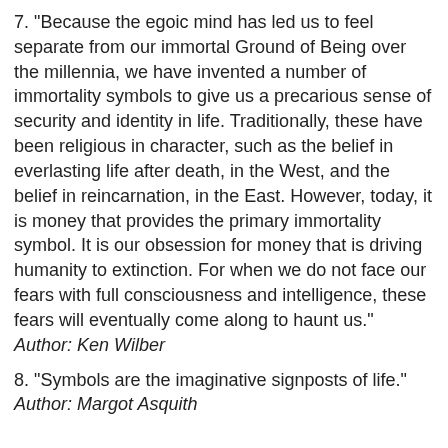7. "Because the egoic mind has led us to feel separate from our immortal Ground of Being over the millennia, we have invented a number of immortality symbols to give us a precarious sense of security and identity in life. Traditionally, these have been religious in character, such as the belief in everlasting life after death, in the West, and the belief in reincarnation, in the East. However, today, it is money that provides the primary immortality symbol. It is our obsession for money that is driving humanity to extinction. For when we do not face our fears with full consciousness and intelligence, these fears will eventually come along to haunt us."
Author: Ken Wilber
8. "Symbols are the imaginative signposts of life."
Author: Margot Asquith